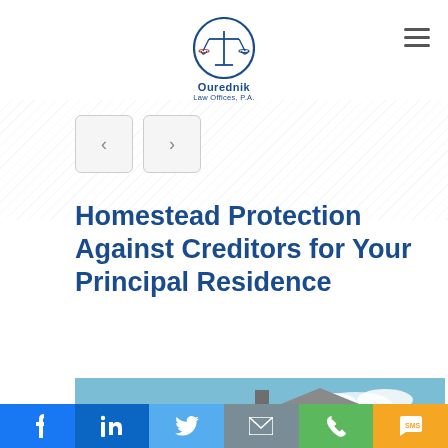[Figure (logo): Ourednik Law Offices, P.A. logo with scales of justice icon in blue circle]
[Figure (other): Navigation previous and next arrow buttons on striped background]
Homestead Protection Against Creditors for Your Principal Residence
[Figure (photo): Photo of a large two-story yellow house with white fence gate and green lawn]
Social share bar: Facebook, LinkedIn, Twitter, Email, Phone, SMS